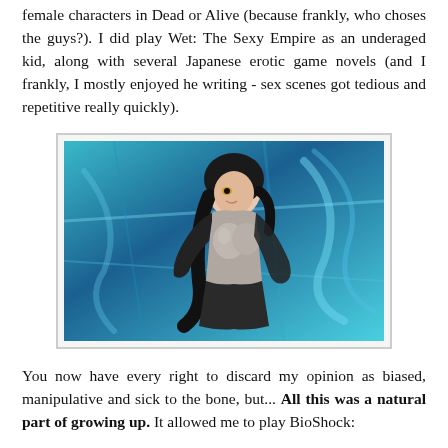female characters in Dead or Alive (because frankly, who choses the guys?). I did play Wet: The Sexy Empire as an underaged kid, along with several Japanese erotic game novels (and I frankly, I mostly enjoyed he writing - sex scenes got tedious and repetitive really quickly).
[Figure (illustration): 3D rendered anime-style female character with black hair, wearing a grey top and black gloves, posed dynamically against a teal and blue abstract background]
You now have every right to discard my opinion as biased, manipulative and sick to the bone, but... All this was a natural part of growing up. It allowed me to play BioShock: